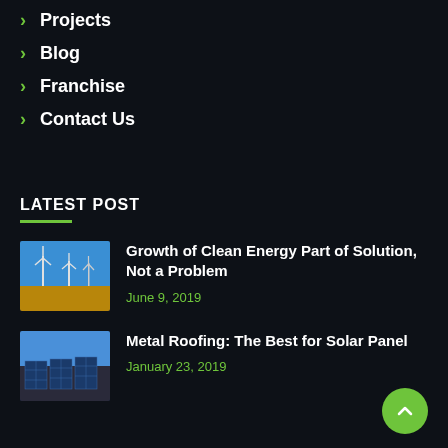> Projects
> Blog
> Franchise
> Contact Us
LATEST POST
[Figure (photo): Wind turbines in a field under blue sky]
Growth of Clean Energy Part of Solution, Not a Problem
June 9, 2019
[Figure (photo): Solar panels under blue sky]
Metal Roofing: The Best for Solar Panel
January 23, 2019